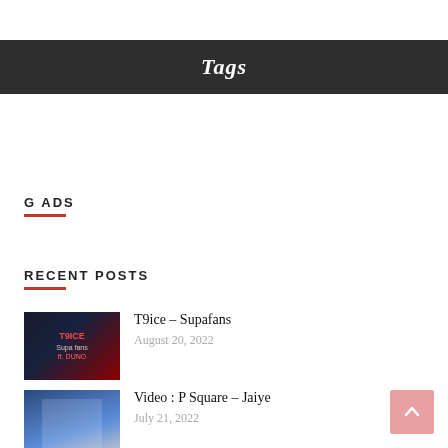Tags
G ADS
RECENT POSTS
T9ice – Supafans
August 20, 2022
Video : P Square – Jaiye
July 21, 2022